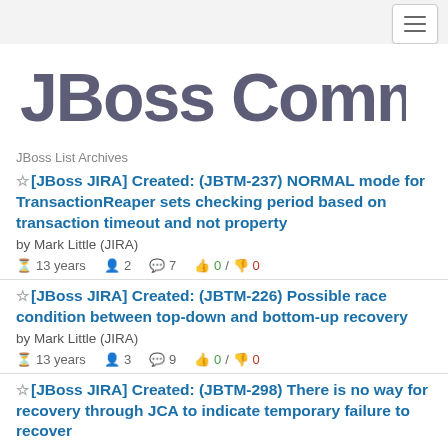[Figure (logo): JBoss Community logo with hamburger menu button in top right]
JBoss List Archives
[JBoss JIRA] Created: (JBTM-237) NORMAL mode for TransactionReaper sets checking period based on transaction timeout and not property by Mark Little (JIRA) — 13 years, 2 members, 7 comments, 0/0 votes
[JBoss JIRA] Created: (JBTM-226) Possible race condition between top-down and bottom-up recovery by Mark Little (JIRA) — 13 years, 3 members, 9 comments, 0/0 votes
[JBoss JIRA] Created: (JBTM-298) There is no way for recovery through JCA to indicate temporary failure to recover